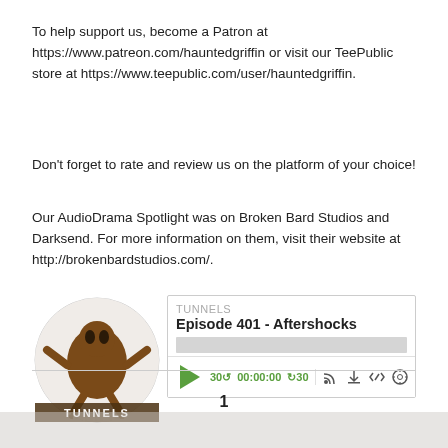To help support us, become a Patron at https://www.patreon.com/hauntedgriffin or visit our TeePublic store at https://www.teepublic.com/user/hauntedgriffin.
Don't forget to rate and review us on the platform of your choice!
Our AudioDrama Spotlight was on Broken Bard Studios and Darksend. For more information on them, visit their website at http://brokenbardstudios.com/.
[Figure (screenshot): Podcast player widget for TUNNELS Episode 401 - Aftershocks, with play button, progress bar, time controls (30 back, 00:00:00, forward 30), and icons for RSS, download, embed, and settings. Circular logo showing TUNNELS artwork on the left.]
Download this Episode
1